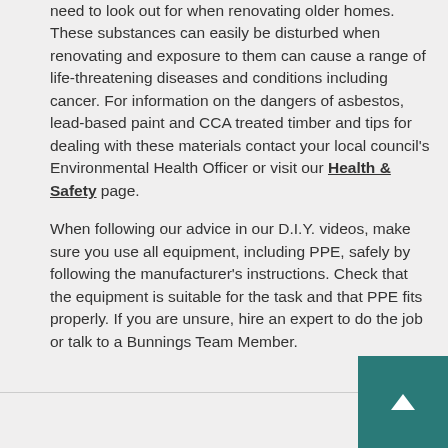need to look out for when renovating older homes. These substances can easily be disturbed when renovating and exposure to them can cause a range of life-threatening diseases and conditions including cancer. For information on the dangers of asbestos, lead-based paint and CCA treated timber and tips for dealing with these materials contact your local council's Environmental Health Officer or visit our Health & Safety page.
When following our advice in our D.I.Y. videos, make sure you use all equipment, including PPE, safely by following the manufacturer's instructions. Check that the equipment is suitable for the task and that PPE fits properly. If you are unsure, hire an expert to do the job or talk to a Bunnings Team Member.